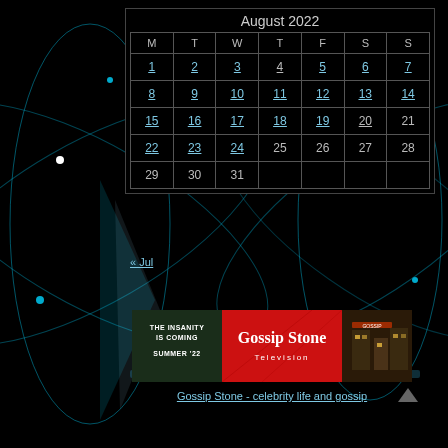August 2022
| M | T | W | T | F | S | S |
| --- | --- | --- | --- | --- | --- | --- |
| 1 | 2 | 3 | 4 | 5 | 6 | 7 |
| 8 | 9 | 10 | 11 | 12 | 13 | 14 |
| 15 | 16 | 17 | 18 | 19 | 20 | 21 |
| 22 | 23 | 24 | 25 | 26 | 27 | 28 |
| 29 | 30 | 31 |  |  |  |  |
« Jul
[Figure (infographic): Gossip Stone Television advertisement banner. Left panel dark green with text 'THE INSANITY IS COMING SUMMER '22', center red panel with 'Gossip Stone Television' branding, right panel shows building exterior photo.]
Gossip Stone - celebrity life and gossip